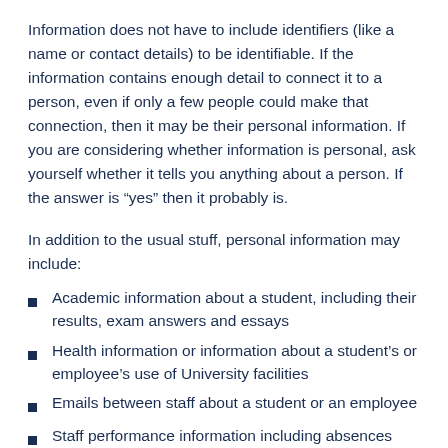Information does not have to include identifiers (like a name or contact details) to be identifiable. If the information contains enough detail to connect it to a person, even if only a few people could make that connection, then it may be their personal information. If you are considering whether information is personal, ask yourself whether it tells you anything about a person. If the answer is “yes” then it probably is.
In addition to the usual stuff, personal information may include:
Academic information about a student, including their results, exam answers and essays
Health information or information about a student’s or employee’s use of University facilities
Emails between staff about a student or an employee
Staff performance information including absences